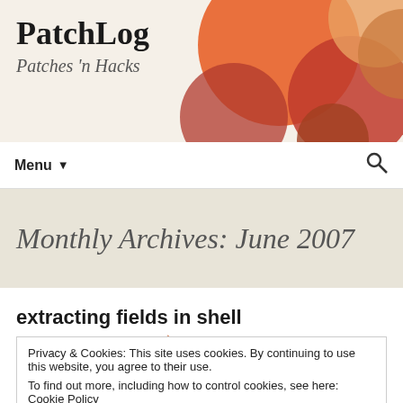PatchLog — Patches 'n Hacks
Monthly Archives: June 2007
extracting fields in shell
June 21, 2007   shell   bash, Linux, scripting, shell
Privacy & Cookies: This site uses cookies. By continuing to use this website, you agree to their use. To find out more, including how to control cookies, see here: Cookie Policy
A lot of shell scripts require processing some kind of data structured in fields or columns separated by special characters ( space, coma, semi colon, etc...
Close and accept